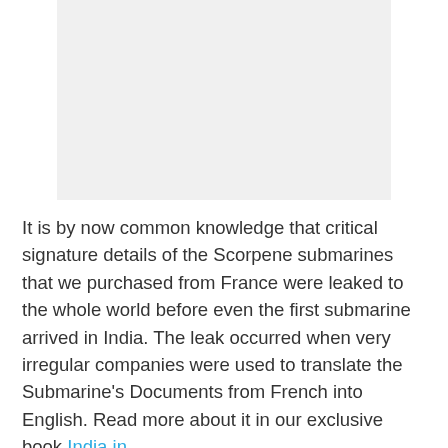[Figure (photo): Image placeholder with light gray background, likely a photograph related to Scorpene submarines]
It is by now common knowledge that critical signature details of the Scorpene submarines that we purchased from France were leaked to the whole world before even the first submarine arrived in India. The leak occurred when very irregular companies were used to translate the Submarine's Documents from French into English. Read more about it in our exclusive book India in